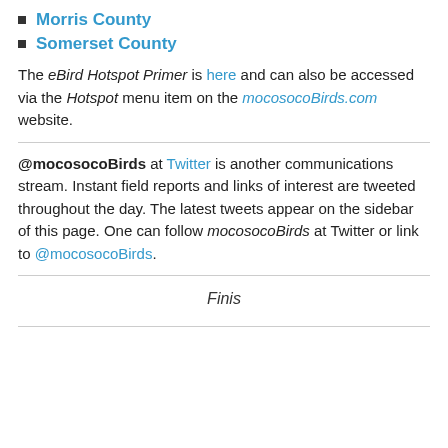Morris County
Somerset County
The eBird Hotspot Primer is here and can also be accessed via the Hotspot menu item on the mocosocoBirds.com website.
@mocosocoBirds at Twitter is another communications stream. Instant field reports and links of interest are tweeted throughout the day. The latest tweets appear on the sidebar of this page. One can follow mocosocoBirds at Twitter or link to @mocosocoBirds.
Finis